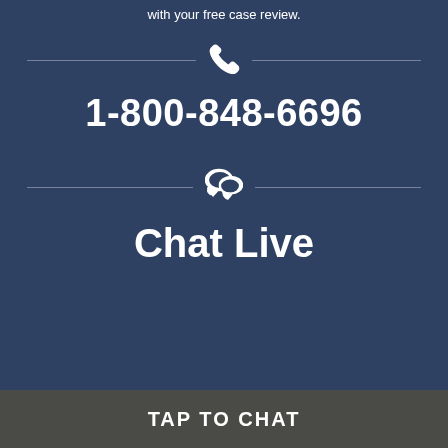with your free case review.
[Figure (infographic): Phone icon with horizontal divider lines on each side, followed by phone number 1-800-848-6696]
1-800-848-6696
[Figure (infographic): Chat bubble icon with horizontal divider lines on each side, followed by Chat Live text]
Chat Live
TAP TO CHAT